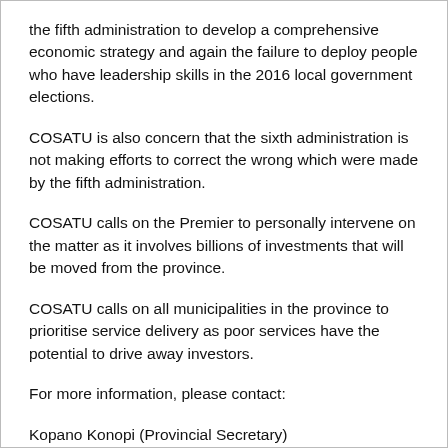the fifth administration to develop a comprehensive economic strategy and again the failure to deploy people who have leadership skills in the 2016 local government elections.
COSATU is also concern that the sixth administration is not making efforts to correct the wrong which were made by the fifth administration.
COSATU calls on the Premier to personally intervene on the matter as it involves billions of investments that will be moved from the province.
COSATU calls on all municipalities in the province to prioritise service delivery as poor services have the potential to drive away investors.
For more information, please contact:
Kopano Konopi (Provincial Secretary)
COSATU North West